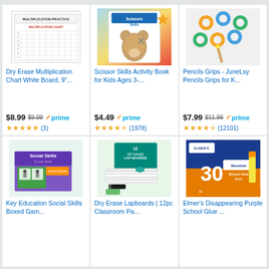[Figure (screenshot): Dry Erase Multiplication Chart White Board product image]
Dry Erase Multiplication Chart White Board, 9"...
$8.99 $9.99 prime (3 reviews, 5 stars)
[Figure (screenshot): Scissor Skills Activity Book for Kids product image]
Scissor Skills Activity Book for Kids Ages 3-...
$4.49 prime (1978 reviews, 4.5 stars)
[Figure (screenshot): Pencils Grips - JuneLsy Pencils Grips product image]
Pencils Grips - JuneLsy Pencils Grips for K...
$7.99 $11.99 prime (12101 reviews, 4.5 stars)
[Figure (screenshot): Key Education Social Skills Boxed Game product image]
Key Education Social Skills Boxed Gam...
[Figure (screenshot): Dry Erase Lapboards 12pc Classroom Pack product image]
Dry Erase Lapboards | 12pc Classroom Pa...
[Figure (screenshot): Elmer's Disappearing Purple School Glue Sticks product image]
Elmer's Disappearing Purple School Glue ...